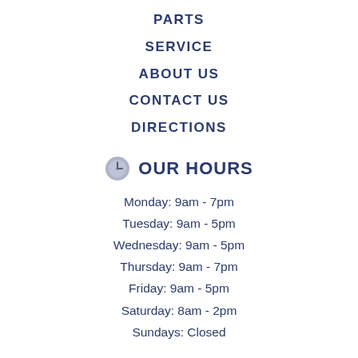PARTS
SERVICE
ABOUT US
CONTACT US
DIRECTIONS
OUR HOURS
Monday: 9am - 7pm
Tuesday: 9am - 5pm
Wednesday: 9am - 5pm
Thursday: 9am - 7pm
Friday: 9am - 5pm
Saturday: 8am - 2pm
Sundays: Closed